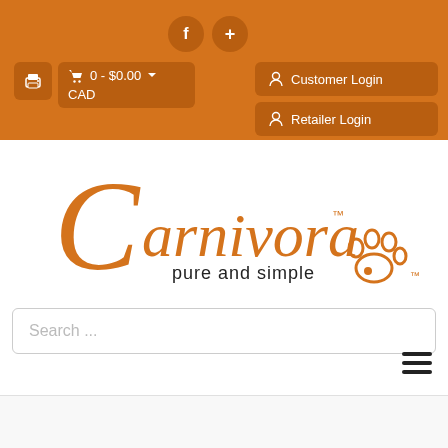Header bar with social icons, cart, and login buttons
[Figure (logo): Carnivora brand logo with stylized orange cursive C, 'arnivora' text, TM mark, paw print icon, and tagline 'pure and simple']
Search ...
[Figure (other): Hamburger menu icon (three horizontal lines)]